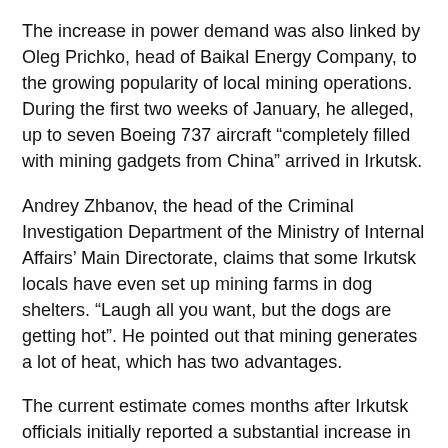The increase in power demand was also linked by Oleg Prichko, head of Baikal Energy Company, to the growing popularity of local mining operations. During the first two weeks of January, he alleged, up to seven Boeing 737 aircraft “completely filled with mining gadgets from China” arrived in Irkutsk.
Andrey Zhbanov, the head of the Criminal Investigation Department of the Ministry of Internal Affairs’ Main Directorate, claims that some Irkutsk locals have even set up mining farms in dog shelters. “Laugh all you want, but the dogs are getting hot”. He pointed out that mining generates a lot of heat, which has two advantages.
The current estimate comes months after Irkutsk officials initially reported a substantial increase in energy use in October 2021. Blaming it on the massive expansion of mining operations resulting from the outflow of Chinese miners. In late 2021, the Russian Energy Ministry said it was working on a new framework. In order to distinguish prices for general use and crypto mining.